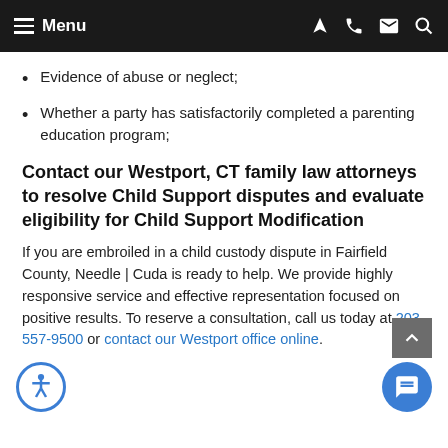Menu
Evidence of abuse or neglect;
Whether a party has satisfactorily completed a parenting education program;
Contact our Westport, CT family law attorneys to resolve Child Support disputes and evaluate eligibility for Child Support Modification
If you are embroiled in a child custody dispute in Fairfield County, Needle | Cuda is ready to help. We provide highly responsive service and effective representation focused on positive results. To reserve a consultation, call us today at 203-557-9500 or contact our Westport office online.